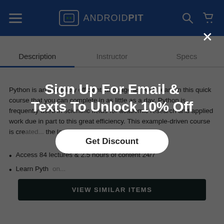ANDROIDPIT
Description | Instructor | Specs
Python is an incredibly efficient language as you'll learn in this quick course that you can complete in as little as a day. Python is frequently used in scientific fields for academic research and applied work due in part to this great efficiency. This example-driven course is cre... the language...
Access 84 lectures & 25 hours of content 24/7
Learn Pyth...
[Figure (screenshot): Dark green VIEW SIMILAR ITEMS button]
Sign Up For Email & Texts To Unlock 10% Off
Get Discount